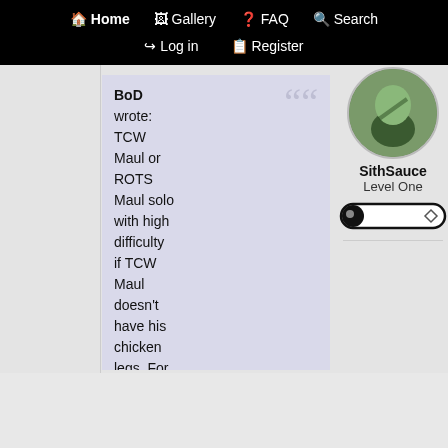Home  Gallery  FAQ  Search  Log in  Register
[Figure (screenshot): User avatar - circular profile image showing an animated character with green skin]
SithSauce
Level One
[Figure (other): XP progress bar - black oval slider bar with diamond icon, nearly empty]
BoD wrote: TCW Maul or ROTS Maul solo with high difficulty if TCW Maul doesn't have his chicken legs. For the bonus, Maul and